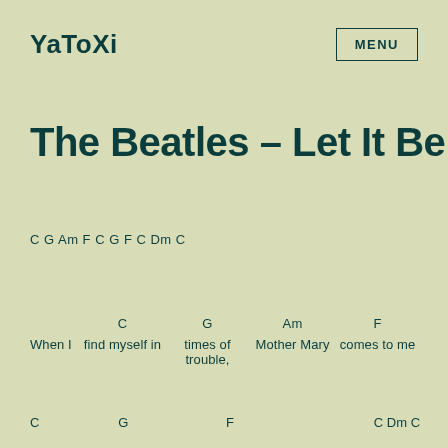YaToXi  MENU
The Beatles – Let It Be
C G Am F C G F C Dm C
C  G  Am  F
When I  find myself in  times of trouble,  Mother Mary  comes to me
C  G  F  C Dm C